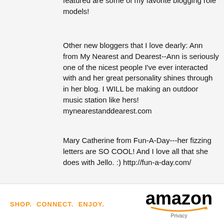featured are some of my favorite blogging role models!
Other new bloggers that I love dearly: Ann from My Nearest and Dearest--Ann is seriously one of the nicest people I've ever interacted with and her great personality shines through in her blog. I WILL be making an outdoor music station like hers! mynearestanddearest.com
Mary Catherine from Fun-A-Day---her fizzing letters are SO COOL! And I love all that she does with Jello. :) http://fun-a-day.com/
Sam from Thrive360. Sam hasn't been blogging long, but you'd never know it from her blog. Whoa...it's so professional! I imagine she's most famous for her painted rock activities, but her whole blog is so cool.
Melissa from Fireflies and Mudpies. First
[Figure (logo): Amazon advertisement banner with orange text 'SHOP. CONNECT. ENJOY.' on the left and the Amazon logo with smile on the right, with 'Privacy' text below logo]